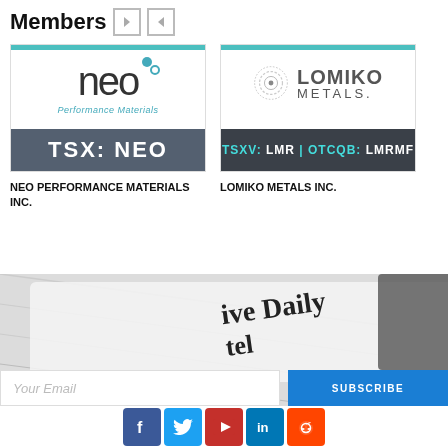Members
[Figure (logo): NEO Performance Materials logo with TSX: NEO ticker bar]
[Figure (logo): Lomiko Metals logo with TSXV: LMR | OTCQB: LMRMF ticker bar]
NEO PERFORMANCE MATERIALS INC.
LOMIKO METALS INC.
[Figure (photo): Newsletter banner image with text 'ive Daily tel' and email subscribe section]
Your Email
SUBSCRIBE
[Figure (infographic): Social media icons: Facebook, Twitter, YouTube, LinkedIn, Reddit]